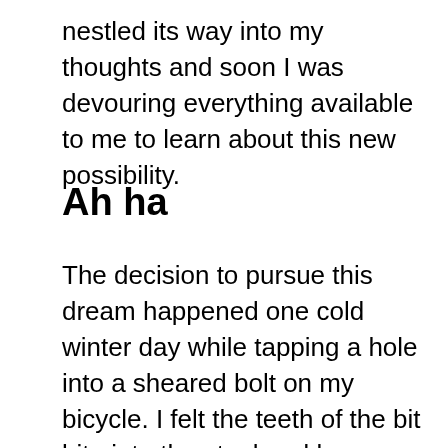nestled its way into my thoughts and soon I was devouring everything available to me to learn about this new possibility.
Ah ha
The decision to pursue this dream happened one cold winter day while tapping a hole into a sheared bolt on my bicycle. I felt the teeth of the bit bite into the steel and knew immediately, without any doubt, manipulating and creating with this material was the thing I was called to do. With the tremendous support of my family I enrolled in a 7-day bicycle frame building class at the Bicycle Academy in Frome, England